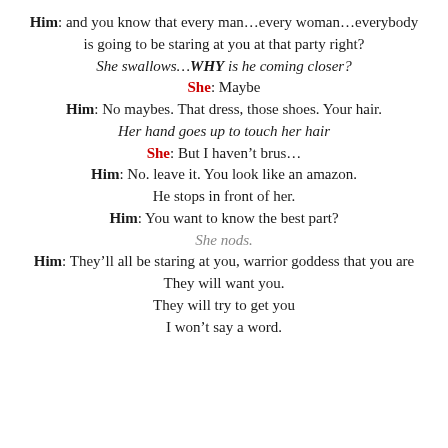Him: and you know that every man…every woman…everybody is going to be staring at you at that party right?
She swallows…WHY is he coming closer?
She: Maybe
Him: No maybes. That dress, those shoes. Your hair.
Her hand goes up to touch her hair
She: But I haven't brus…
Him: No. leave it. You look like an amazon.
He stops in front of her.
Him: You want to know the best part?
She nods.
Him: They'll all be staring at you, warrior goddess that you are
They will want you.
They will try to get you
I won't say a word.